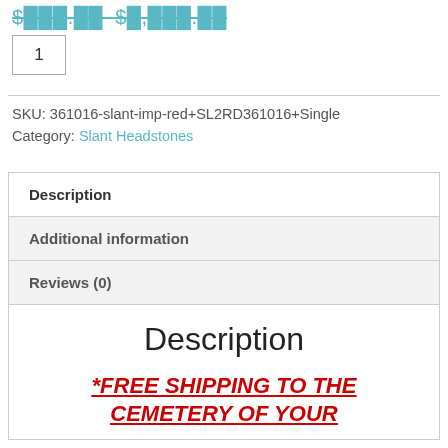[price strikethrough - partial, cropped at top]
1
SKU: 361016-slant-imp-red+SL2RD361016+Single
Category: Slant Headstones
Description
Additional information
Reviews (0)
Description
*FREE SHIPPING TO THE CEMETERY OF YOUR